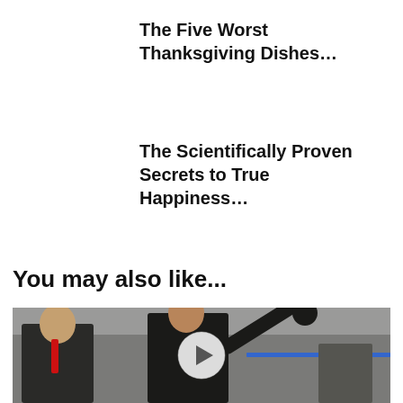The Five Worst Thanksgiving Dishes…
The Scientifically Proven Secrets to True Happiness…
You may also like...
[Figure (photo): Two men in dark suits outdoors; one waves with raised arm; a person with a red tie stands to the left; blue stripe visible in background; a play button overlay is centered on the image.]